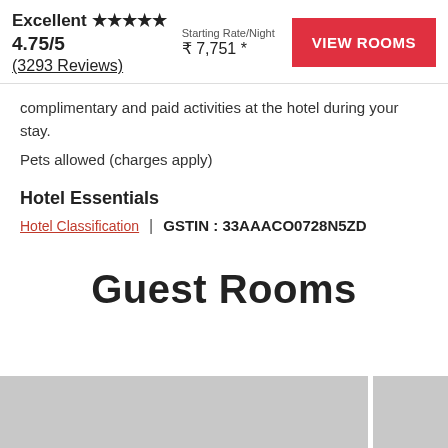Excellent ★★★★★ 4.75/5 (3293 Reviews)
Starting Rate/Night ₹ 7,751 *
VIEW ROOMS
complimentary and paid activities at the hotel during your stay.
Pets allowed (charges apply)
Hotel Essentials
Hotel Classification | GSTIN : 33AAACO0728N5ZD
Guest Rooms
[Figure (photo): Hotel room images placeholder strip at the bottom of the page]